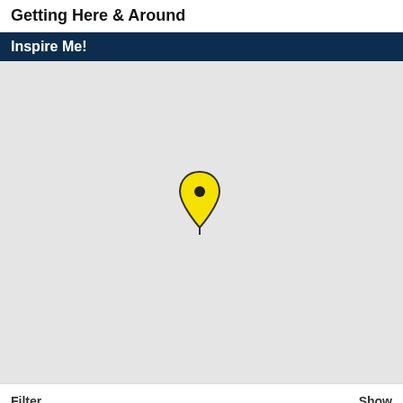Getting Here & Around
Inspire Me!
[Figure (map): A map with a single yellow location pin marker in the center area of the map. The map background is light gray (no street detail visible). The pin is yellow with a black outline and a black dot in its center.]
Filter
Show